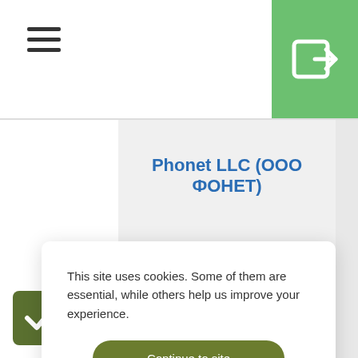[Figure (screenshot): Hamburger menu icon (three horizontal lines) in top-left navigation bar]
[Figure (screenshot): Green login/enter button with arrow-into-box icon in top-right corner]
Phonet LLC (ООО ФОНЕТ)
This site uses cookies. Some of them are essential, while others help us improve your experience.
Continue to site
Preferences
[Figure (logo): Clym logo text in grey/teal]
[Figure (logo): InMail / messaging app logo with blue speech bubble and text 'a new era of collaboration']
[Figure (screenshot): Green checkmark button in bottom-left corner]